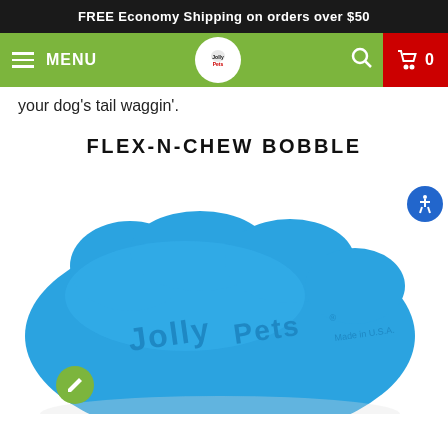FREE Economy Shipping on orders over $50
[Figure (screenshot): Green navigation bar with hamburger menu icon, MENU text, Jolly Pets logo in center, search icon, and red cart button showing 0]
your dog's tail waggin'.
FLEX-N-CHEW BOBBLE
[Figure (photo): Blue Jolly Pets Flex-N-Chew Bobble dog toy with embossed Jolly Pets logo and Made in USA text, shown on white background]